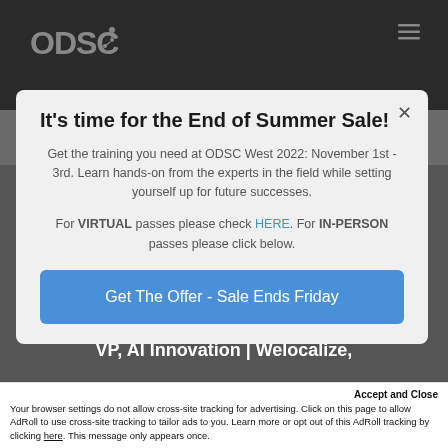ODSC
It's time for the End of Summer Sale!
Get the training you need at ODSC West 2022: November 1st - 3rd. Learn hands-on from the experts in the field while setting yourself up for future successes.
For VIRTUAL passes please check HERE. For IN-PERSON passes please click below.
Get The Offer - Sale Ends Friday
VP, AI Innovation | Welocalize,
Accept and Close
Your browser settings do not allow cross-site tracking for advertising. Click on this page to allow AdRoll to use cross-site tracking to tailor ads to you. Learn more or opt out of this AdRoll tracking by clicking here. This message only appears once.